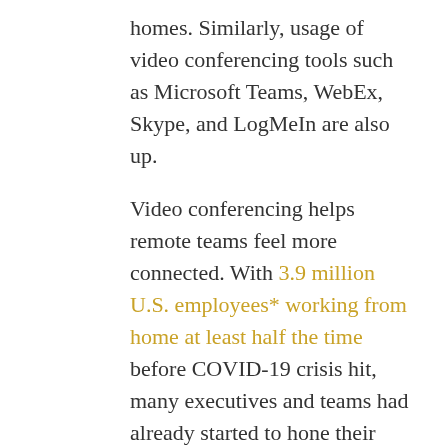homes. Similarly, usage of video conferencing tools such as Microsoft Teams, WebEx, Skype, and LogMeIn are also up.
Video conferencing helps remote teams feel more connected. With 3.9 million U.S. employees* working from home at least half the time before COVID-19 crisis hit, many executives and teams had already started to hone their chops on the medium.
(*The actual number of work-from-home workers is 10-15 times larger than these data suggest, as the data focus only on employees who work